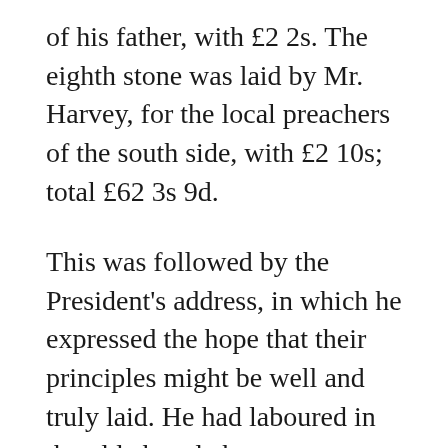of his father, with £2 2s. The eighth stone was laid by Mr. Harvey, for the local preachers of the south side, with £2 10s; total £62 3s 9d.
This was followed by the President's address, in which he expressed the hope that their principles might be well and truly laid. He had laboured in the old chapel about twenty-seven years ago as a young minister, and had witnessed many noble conversions there. They ought, and must, combine to carry on the work. The proposed new chapel was for the people